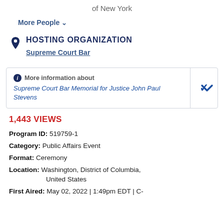of New York
More People ▾
HOSTING ORGANIZATION
Supreme Court Bar
More information about Supreme Court Bar Memorial for Justice John Paul Stevens
1,443 VIEWS
Program ID: 519759-1
Category: Public Affairs Event
Format: Ceremony
Location: Washington, District of Columbia, United States
First Aired: May 02, 2022 | 1:49pm EDT | C-